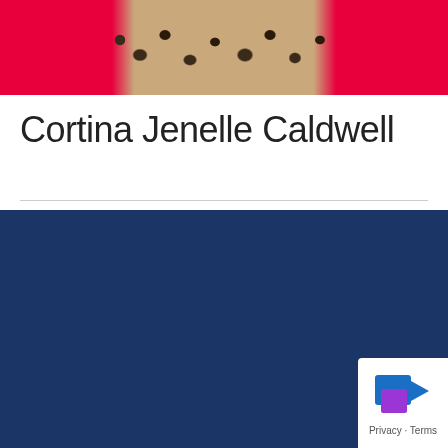[Figure (photo): Cropped photo strip showing person in red and leopard print clothing]
Cortina Jenelle Caldwell
Home Page
Keep Up!
Subscribe Today
Questions? Feedback?
Contact Us
[Figure (logo): Privacy badge with purple/blue icon and Privacy - Terms text]